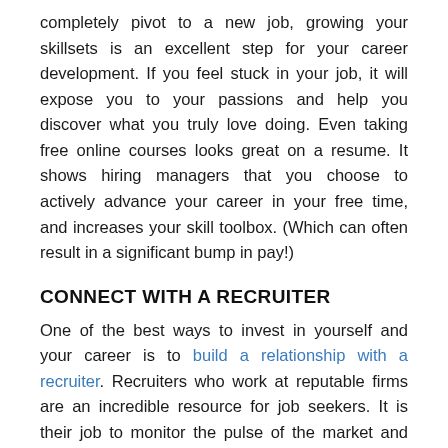completely pivot to a new job, growing your skillsets is an excellent step for your career development. If you feel stuck in your job, it will expose you to your passions and help you discover what you truly love doing. Even taking free online courses looks great on a resume. It shows hiring managers that you choose to actively advance your career in your free time, and increases your skill toolbox. (Which can often result in a significant bump in pay!)
CONNECT WITH A RECRUITER
One of the best ways to invest in yourself and your career is to build a relationship with a recruiter. Recruiters who work at reputable firms are an incredible resource for job seekers. It is their job to monitor the pulse of the market and identify the latest